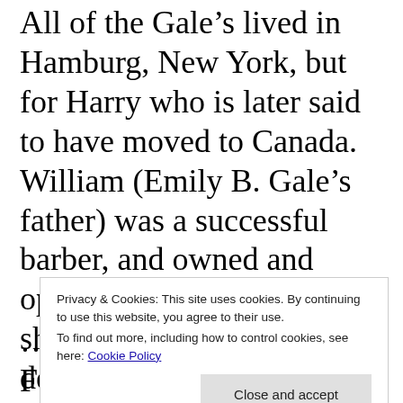All of the Gale’s lived in Hamburg, New York, but for Harry who is later said to have moved to Canada. William (Emily B. Gale’s father) was a successful barber, and owned and operated his own barber shop in Hamburg for decades. They lived on Main
Privacy & Cookies: This site uses cookies. By continuing to use this website, you agree to their use. To find out more, including how to control cookies, see here: Cookie Policy
Close and accept
...99 / ...y ...d ...er Gale Fol...